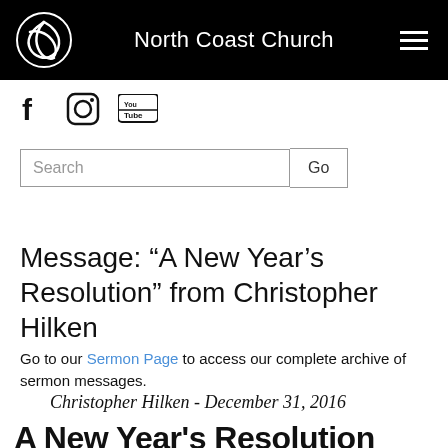North Coast Church
[Figure (screenshot): Social media icons: Facebook, Instagram, YouTube]
[Figure (screenshot): Search bar with text input and Go button]
Message: “A New Year’s Resolution” from Christopher Hilken
Go to our Sermon Page to access our complete archive of sermon messages.
Christopher Hilken - December 31, 2016
A New Year's Resolution